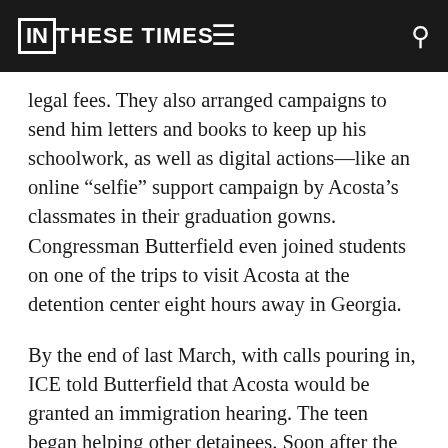IN THESE TIMES
legal fees. They also arranged campaigns to send him letters and books to keep up his schoolwork, as well as digital actions—like an online “selfie” support campaign by Acosta’s classmates in their graduation gowns. Congressman Butterfield even joined students on one of the trips to visit Acosta at the detention center eight hours away in Georgia.
By the end of last March, with calls pouring in, ICE told Butterfield that Acosta would be granted an immigration hearing. The teen began helping other detainees. Soon after the detention center became aware of this, Acosta was placed in solitary confinement for not making his bed, not being at his bedside during sleep time and refusing to obey an